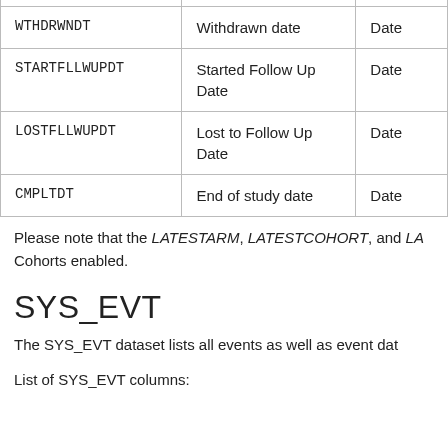| WTHDRWNDT | Withdrawn date | Date |
| STARTFLLWUPDT | Started Follow Up Date | Date |
| LOSTFLLWUPDT | Lost to Follow Up Date | Date |
| CMPLTDT | End of study date | Date |
Please note that the LATESTARM, LATESTCOHORT, and LA Cohorts enabled.
SYS_EVT
The SYS_EVT dataset lists all events as well as event dat
List of SYS_EVT columns: